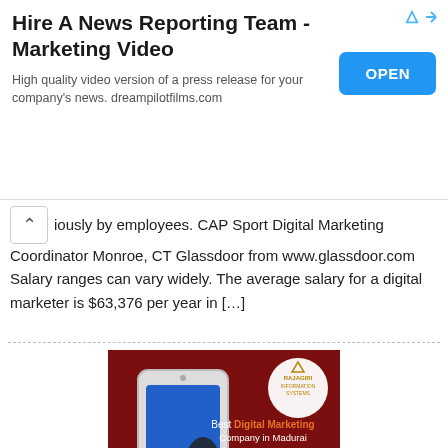[Figure (infographic): Advertisement banner: 'Hire A News Reporting Team - Marketing Video' with OPEN button and triangular arrow icons. Subtitle: 'High quality video version of a press release for your company's news. dreampilotfilms.com']
...iously by employees. CAP Sport Digital Marketing Coordinator Monroe, CT Glassdoor from www.glassdoor.com Salary ranges can vary widely. The average salary for a digital marketer is $63,376 per year in […]
[Figure (illustration): Promotional image on dark red background showing a smartphone with a hand pointing out from the screen scattering digital marketing icons. Logo of Rajagiri Information Systems in top-right circle. Text: 'Best Digital Marketing Company in Madurai']